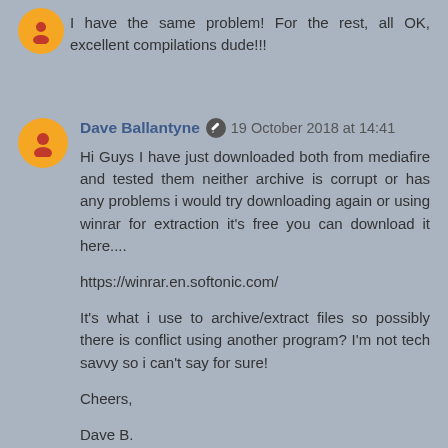I have the same problem! For the rest, all OK, excellent compilations dude!!!
Dave Ballantyne ✏ 19 October 2018 at 14:41
Hi Guys I have just downloaded both from mediafire and tested them neither archive is corrupt or has any problems i would try downloading again or using winrar for extraction it's free you can download it here....
https://winrar.en.softonic.com/
It's what i use to archive/extract files so possibly there is conflict using another program? I'm not tech savvy so i can't say for sure!
Cheers,
Dave B.